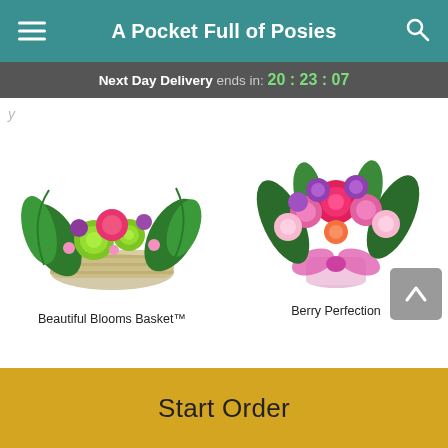A Pocket Full of Posies
Next Day Delivery ends in: 20 : 23 : 07
[Figure (photo): Flower basket arrangement with green chrysanthemums, pink carnations, purple flowers and green foliage in a white wicker basket. Product: Beautiful Blooms Basket™]
[Figure (photo): Pink and purple flower bouquet with roses, carnations, alstroemeria in a pink vase with bow. Product: Berry Perfection]
Beautiful Blooms Basket™
Berry Perfection
Start Order